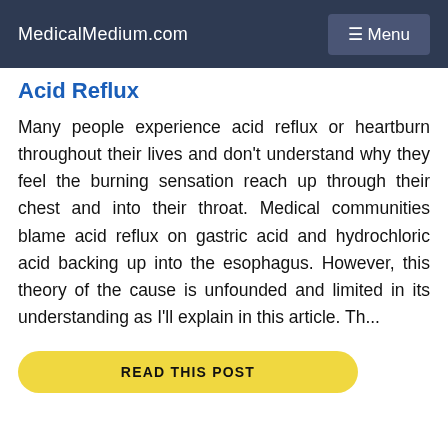MedicalMedium.com  ☰ Menu
Acid Reflux
Many people experience acid reflux or heartburn throughout their lives and don't understand why they feel the burning sensation reach up through their chest and into their throat. Medical communities blame acid reflux on gastric acid and hydrochloric acid backing up into the esophagus. However, this theory of the cause is unfounded and limited in its understanding as I'll explain in this article. Th...
READ THIS POST